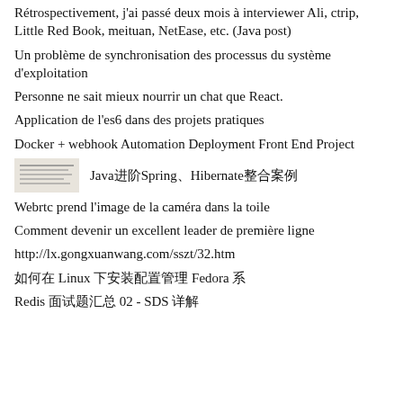Rétrospectivement, j'ai passé deux mois à interviewer Ali, ctrip, Little Red Book, meituan, NetEase, etc. (Java post)
Un problème de synchronisation des processus du système d'exploitation
Personne ne sait mieux nourrir un chat que React.
Application de l'es6 dans des projets pratiques
Docker + webhook Automation Deployment Front End Project
[Figure (other): Small thumbnail image of a document or book cover]
Java进阶Spring、Hibernate整合案例
Webrtc prend l'image de la caméra dans la toile
Comment devenir un excellent leader de première ligne
http://lx.gongxuanwang.com/sszt/32.htm
如何在 Linux 下安装配置管理 Fedora 系
Redis 面试题汇总 02 - SDS 详解